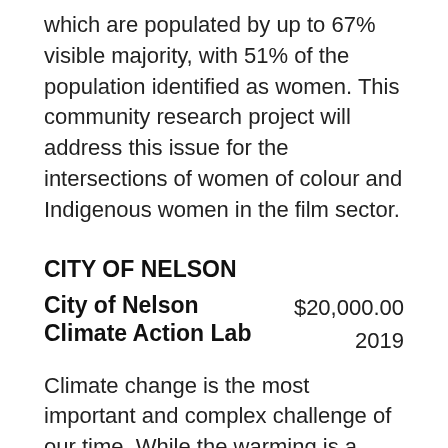which are populated by up to 67% visible majority, with 51% of the population identified as women. This community research project will address this issue for the intersections of women of colour and Indigenous women in the film sector.
CITY OF NELSON
City of Nelson Climate Action Lab
$20,000.00
2019
Climate change is the most important and complex challenge of our time. While the warming is a global issue, local government and civil society are best suited to make the most impact.